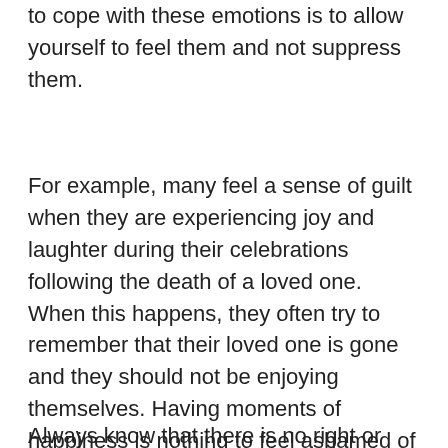to cope with these emotions is to allow yourself to feel them and not suppress them.
For example, many feel a sense of guilt when they are experiencing joy and laughter during their celebrations following the death of a loved one. When this happens, they often try to remember that their loved one is gone and they should not be enjoying themselves. Having moments of happiness is nothing to feel ashamed of and it isn't a sign you are forgetting the one you have lost. Allowing yourself to go through all of the feelings is all part of the healing process.
Always know that there is no right or